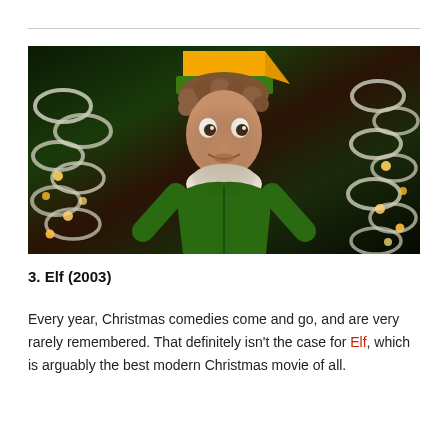[Figure (photo): A man dressed as an elf in a green costume with white fur collar and yellow-green striped hat, with a surprised expression, surrounded by Christmas decorations and lights in the background. This is a still from the 2003 movie Elf.]
3. Elf (2003)
Every year, Christmas comedies come and go, and are very rarely remembered. That definitely isn't the case for Elf, which is arguably the best modern Christmas movie of all.